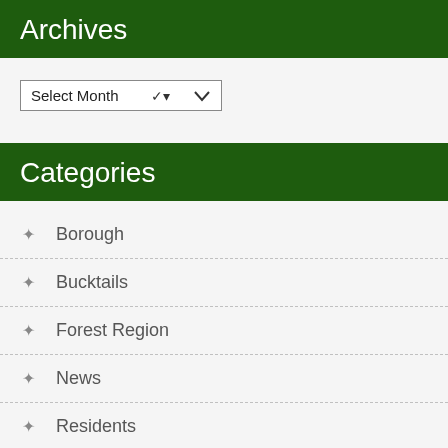Archives
Select Month
Categories
Borough
Bucktails
Forest Region
News
Residents
Wheel Around the Hub
Wooly Willy